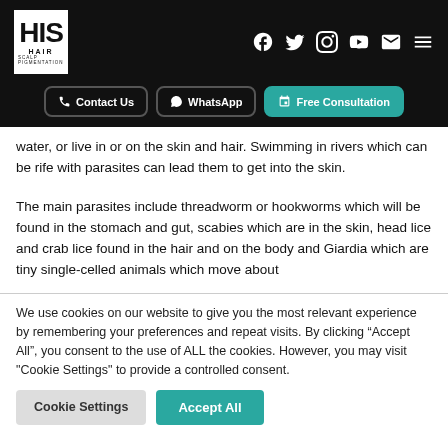HIS HAIR SCALP PIGMENTATION — navigation header with Contact Us, WhatsApp, Free Consultation buttons and social icons
water, or live in or on the skin and hair. Swimming in rivers which can be rife with parasites can lead them to get into the skin.
The main parasites include threadworm or hookworms which will be found in the stomach and gut, scabies which are in the skin, head lice and crab lice found in the hair and on the body and Giardia which are tiny single-celled animals which move about
We use cookies on our website to give you the most relevant experience by remembering your preferences and repeat visits. By clicking “Accept All”, you consent to the use of ALL the cookies. However, you may visit "Cookie Settings" to provide a controlled consent.